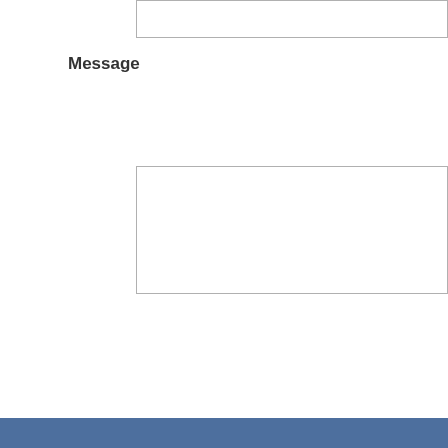[Figure (screenshot): A form input text box at the top of the page, partially visible, with a thin gray border.]
Message
[Figure (screenshot): A large textarea input box for entering a message, with a thin gray border.]
[Figure (screenshot): A rounded blue CONTACT button with white uppercase text.]